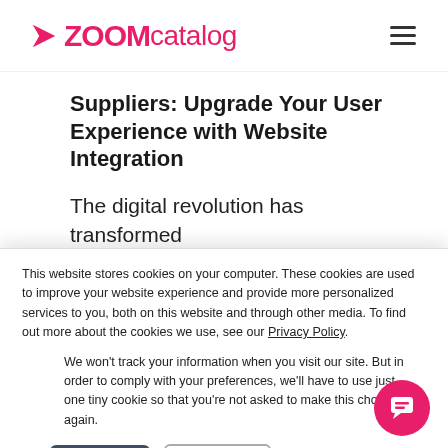ZOOMcatalog
Suppliers: Upgrade Your User Experience with Website Integration
The digital revolution has transformed the way promotional products
This website stores cookies on your computer. These cookies are used to improve your website experience and provide more personalized services to you, both on this website and through other media. To find out more about the cookies we use, see our Privacy Policy.
We won't track your information when you visit our site. But in order to comply with your preferences, we'll have to use just one tiny cookie so that you're not asked to make this choice again.